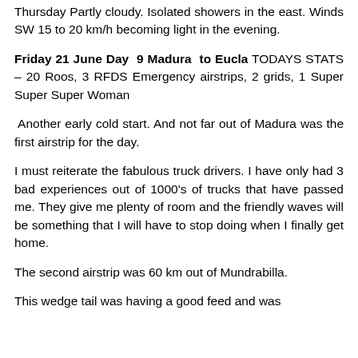Thursday Partly cloudy. Isolated showers in the east. Winds SW 15 to 20 km/h becoming light in the evening.
Friday 21 June Day 9 Madura to Eucla TODAYS STATS – 20 Roos, 3 RFDS Emergency airstrips, 2 grids, 1 Super Super Super Woman
Another early cold start. And not far out of Madura was the first airstrip for the day.
I must reiterate the fabulous truck drivers. I have only had 3 bad experiences out of 1000's of trucks that have passed me. They give me plenty of room and the friendly waves will be something that I will have to stop doing when I finally get home.
The second airstrip was 60 km out of Mundrabilla.
This wedge tail was having a good feed and was